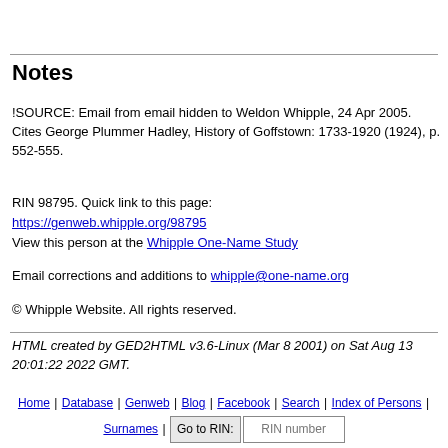Notes
!SOURCE: Email from email hidden to Weldon Whipple, 24 Apr 2005. Cites George Plummer Hadley, History of Goffstown: 1733-1920 (1924), p. 552-555.
RIN 98795. Quick link to this page: https://genweb.whipple.org/98795
View this person at the Whipple One-Name Study
Email corrections and additions to whipple@one-name.org
© Whipple Website. All rights reserved.
HTML created by GED2HTML v3.6-Linux (Mar 8 2001) on Sat Aug 13 20:01:22 2022 GMT.
Home | Database | Genweb | Blog | Facebook | Search | Index of Persons | Surnames | Go to RIN: [RIN number]